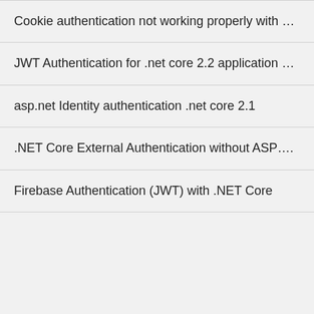Cookie authentication not working properly with …
JWT Authentication for .net core 2.2 application …
asp.net Identity authentication .net core 2.1
.NET Core External Authentication without ASP….
Firebase Authentication (JWT) with .NET Core